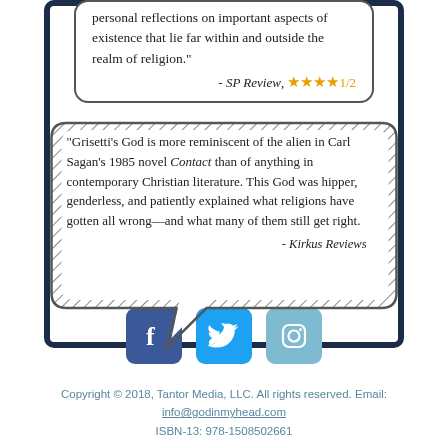personal reflections on important aspects of existence that lie far within and outside the realm of religion." - SP Review, ★★★★1/2
[Figure (illustration): Speech bubble with hatched/diagonal line fill border containing a book review quote from Kirkus Reviews about Grisetti's God]
"Grisetti's God is more reminiscent of the alien in Carl Sagan's 1985 novel Contact than of anything in contemporary Christian literature. This God was hipper, genderless, and patiently explained what religions have gotten all wrong—and what many of them still get right. - Kirkus Reviews
[Figure (logo): Facebook, Twitter, and Instagram social media icons]
Copyright © 2018, Tantor Media, LLC. All rights reserved. Email: info@godinmyhead.com ISBN-13: 978-1508502661